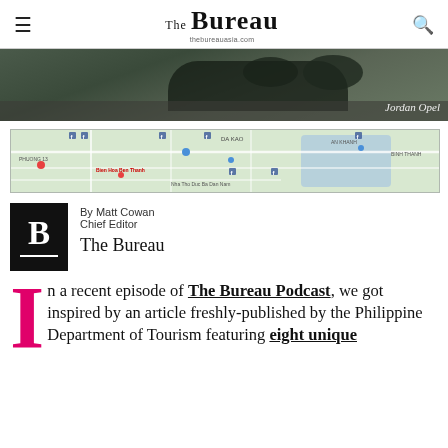The Bureau — thebureauasia.com
[Figure (photo): Hero image of motorcycle riders on a road, with photo credit: Jordan Opel]
[Figure (map): Google Maps screenshot showing a city/urban area map]
By Matt Cowan
Chief Editor
The Bureau
In a recent episode of The Bureau Podcast, we got inspired by an article freshly-published by the Philippine Department of Tourism featuring eight unique